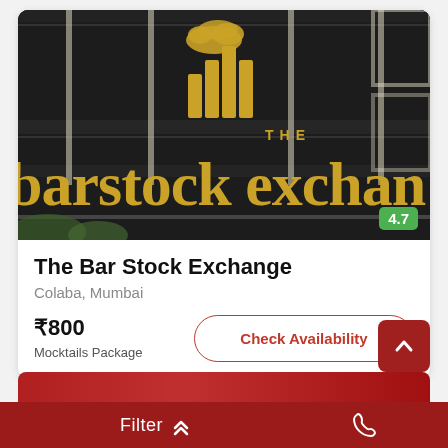[Figure (photo): Exterior signage photo of The Bar Stock Exchange restaurant — dark black facade with gold lettering reading 'THE Bar Stock Exchange', with gold logo of bar chart bars above. Rating badge showing 4.7 in green.]
The Bar Stock Exchange
Colaba, Mumbai
₹800
Mocktails Package
Check Availability
Filter